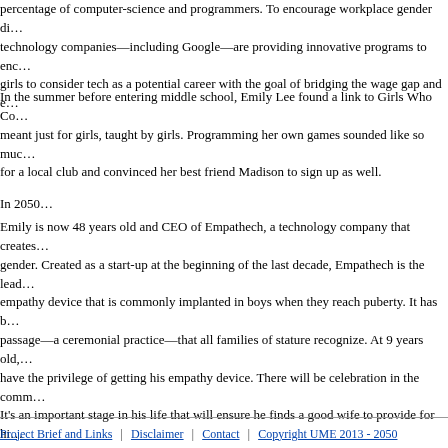percentage of computer-science and programmers. To encourage workplace gender diversity, technology companies—including Google—are providing innovative programs to encourage girls to consider tech as a potential career with the goal of bridging the wage gap and e…
In the summer before entering middle school, Emily Lee found a link to Girls Who Co… meant just for girls, taught by girls. Programming her own games sounded like so much… for a local club and convinced her best friend Madison to sign up as well.
In 2050…
Emily is now 48 years old and CEO of Empathech, a technology company that creates… gender. Created as a start-up at the beginning of the last decade, Empathech is the lead… empathy device that is commonly implanted in boys when they reach puberty. It has b… passage—a ceremonial practice—that all families of stature recognize. At 9 years old,… have the privilege of getting his empathy device. There will be celebration in the comm… It's an important stage in his life that will ensure he finds a good wife to provide for hi…
Project Brief and Links | Disclaimer | Contact | Copyright UME 2013 - 2050